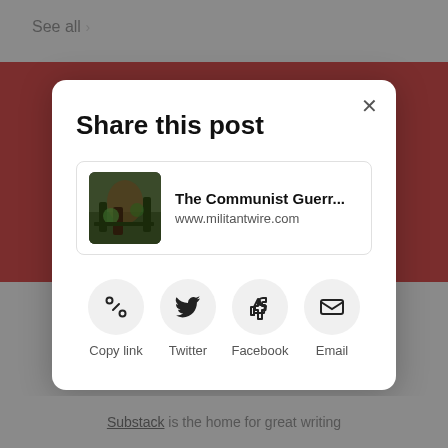See all >
[Figure (screenshot): Share this post modal dialog with link card showing 'The Communist Guerr... www.militantwire.com' and share buttons for Copy link, Twitter, Facebook, Email]
Substack is the home for great writing